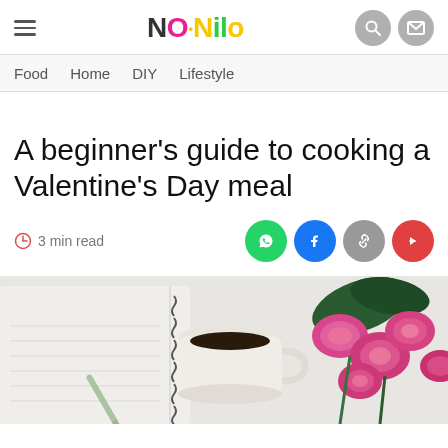Noonilo — Food | Home | DIY | Lifestyle
A beginner's guide to cooking a Valentine's Day meal
3 min read
[Figure (photo): Overhead photo of a notebook, a cup of black coffee, a pen, and a bouquet of pink roses on a white background]